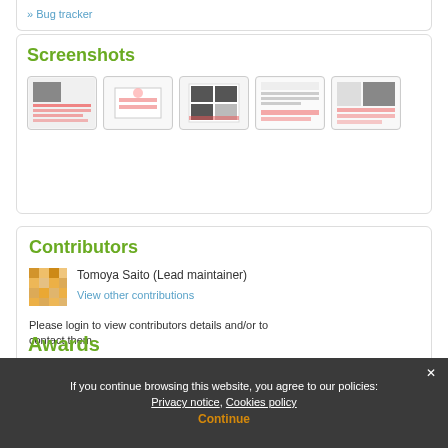» Bug tracker
Screenshots
[Figure (screenshot): Five thumbnail screenshots of a software application]
Contributors
[Figure (illustration): Avatar icon for Tomoya Saito]
Tomoya Saito (Lead maintainer)
View other contributions
Please login to view contributors details and/or to contact them
If you continue browsing this website, you agree to our policies: Privacy notice, Cookies policy
Continue
Awards